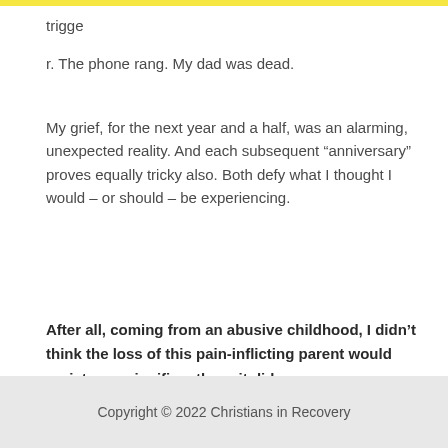trigge
r. The phone rang. My dad was dead.
My grief, for the next year and a half, was an alarming, unexpected reality. And each subsequent “anniversary” proves equally tricky also. Both defy what I thought I would – or should – be experiencing.
After all, coming from an abusive childhood, I didn’t think the loss of this pain-inflicting parent would register as significantly as it did.
Copyright © 2022 Christians in Recovery